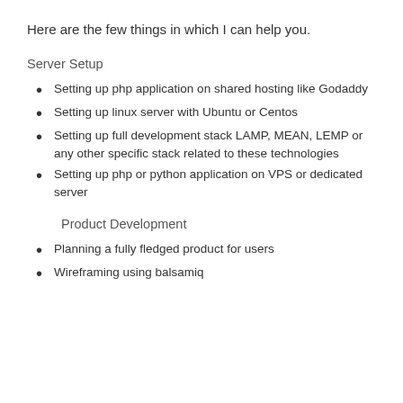Here are the few things in which I can help you.
Server Setup
Setting up php application on shared hosting like Godaddy
Setting up linux server with Ubuntu or Centos
Setting up full development stack LAMP, MEAN, LEMP or any other specific stack related to these technologies
Setting up php or python application on VPS or dedicated server
Product Development
Planning a fully fledged product for users
Wireframing using balsamiq